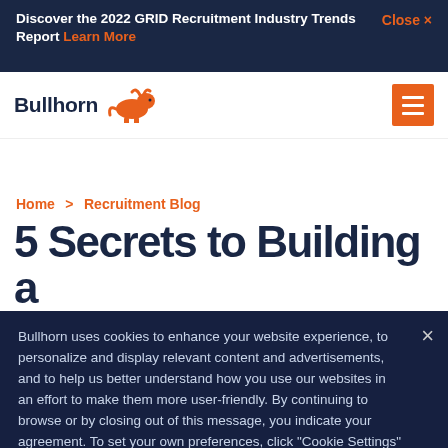Discover the 2022 GRID Recruitment Industry Trends Report Learn More   Close ×
[Figure (logo): Bullhorn logo with bull silhouette icon and text 'Bullhorn']
Home > Recruitment Blog
5 Secrets to Building a
Bullhorn uses cookies to enhance your website experience, to personalize and display relevant content and advertisements, and to help us better understand how you use our websites in an effort to make them more user-friendly. By continuing to browse or by closing out of this message, you indicate your agreement. To set your own preferences, click "Cookie Settings" and you can learn more about the cookies we use by reviewing our cookie policy.